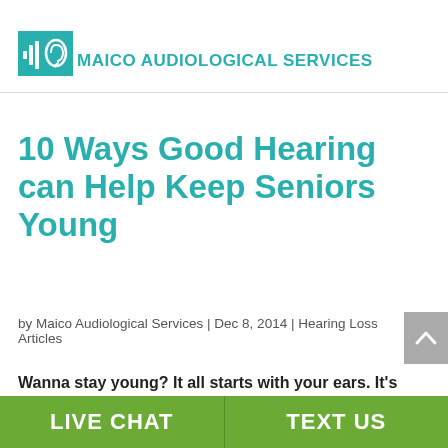[Figure (logo): Maico Audiological Services logo with teal sound wave and ear icon]
10 Ways Good Hearing can Help Keep Seniors Young
by Maico Audiological Services | Dec 8, 2014 | Hearing Loss Articles
Wanna stay young? It all starts with your ears. It's
LIVE CHAT   TEXT US